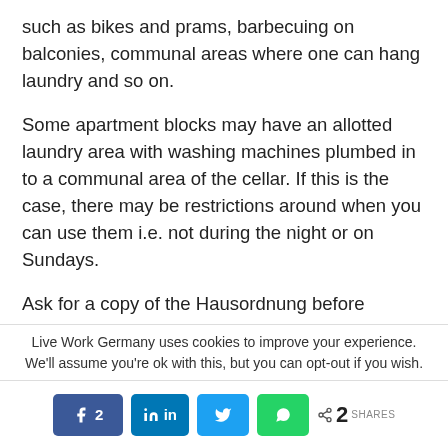such as bikes and prams, barbecuing on balconies, communal areas where one can hang laundry and so on.
Some apartment blocks may have an allotted laundry area with washing machines plumbed in to a communal area of the cellar. If this is the case, there may be restrictions around when you can use them i.e. not during the night or on Sundays.
Ask for a copy of the Hausordnung before signing your tenancy agreement
Live Work Germany uses cookies to improve your experience. We'll assume you're ok with this, but you can opt-out if you wish.